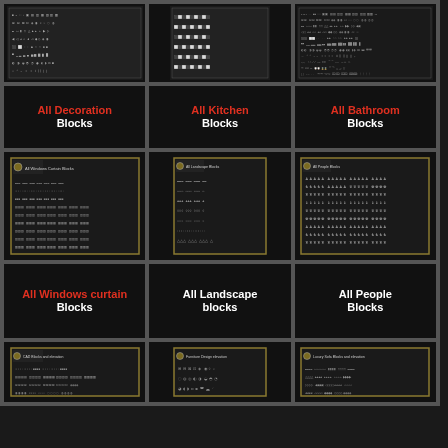[Figure (illustration): CAD blocks thumbnail row 1 left]
[Figure (illustration): CAD blocks thumbnail row 1 center]
[Figure (illustration): CAD blocks thumbnail row 1 right]
All Decoration Blocks
All Kitchen Blocks
All Bathroom Blocks
[Figure (illustration): All Windows Curtain Blocks CAD sheet]
[Figure (illustration): All Landscape Blocks CAD sheet]
[Figure (illustration): All People Blocks CAD sheet]
All Windows curtain Blocks
All Landscape blocks
All People Blocks
[Figure (illustration): CAD Blocks and elevation sheet]
[Figure (illustration): Furniture Design elevation CAD sheet]
[Figure (illustration): Luxury Sofa Blocks and elevation CAD sheet]